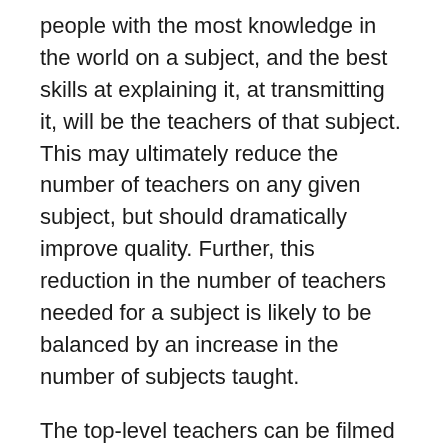people with the most knowledge in the world on a subject, and the best skills at explaining it, at transmitting it, will be the teachers of that subject. This may ultimately reduce the number of teachers on any given subject, but should dramatically improve quality. Further, this reduction in the number of teachers needed for a subject is likely to be balanced by an increase in the number of subjects taught.
The top-level teachers can be filmed in bricks and mortar classes interacting with students, or in a studio, or in their home, or in front of a large audience, whatever fits their personality, whatever environment captures their best teaching moments. The best video-takes, where everything really gels and the magic of teaching happens, will be the videos that are preserved and shared in future online instruction of that subject. The video presentations that will be part of an ideal online program will be the